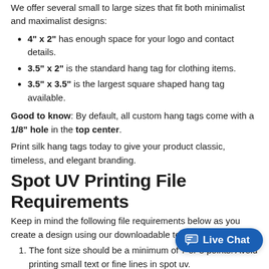We offer several small to large sizes that fit both minimalist and maximalist designs:
4" x 2" has enough space for your logo and contact details.
3.5" x 2" is the standard hang tag for clothing items.
3.5" x 3.5" is the largest square shaped hang tag available.
Good to know: By default, all custom hang tags come with a 1/8" hole in the top center.
Print silk hang tags today to give your product classic, timeless, and elegant branding.
Spot UV Printing File Requirements
Keep in mind the following file requirements below as you create a design using our downloadable templates:
The font size should be a minimum of 7 or 8 points. Avoid printing small text or fine lines in spot uv.
Border and stroke must be more tha…
Images and artwork should be at least 300 DPI.